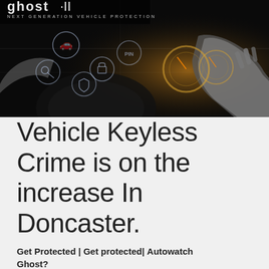[Figure (photo): Dark hero image showing a person driving a car at night with digital security icons overlaid on the windscreen. The Ghost II logo and tagline 'Next Generation Vehicle Protection' appear in the upper left of the image.]
Vehicle Keyless Crime is on the increase In Doncaster.
Get Protected | Get protected | Autowatch Ghost?